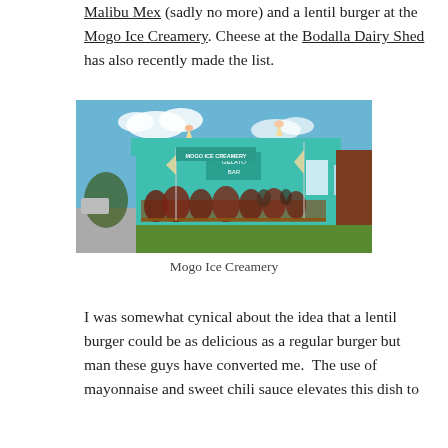Malibu Mex (sadly no more) and a lentil burger at the Mogo Ice Creamery. Cheese at the Bodalla Dairy Shed has also recently made the list.
[Figure (photo): Exterior photo of Mogo Ice Creamery, a teal/turquoise building with outdoor seating and decorative plants in front, blue sky background.]
Mogo Ice Creamery
I was somewhat cynical about the idea that a lentil burger could be as delicious as a regular burger but man these guys have converted me.  The use of mayonnaise and sweet chili sauce elevates this dish to